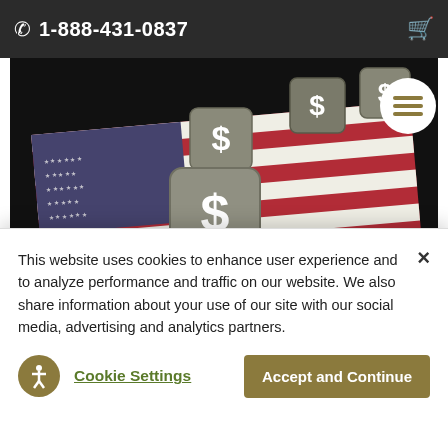1-888-431-0837
[Figure (photo): Dice with dollar signs and question marks on an American flag, on a dark reflective surface — representing financial risk or uncertainty.]
Gold Price Hi...
This website uses cookies to enhance user experience and to analyze performance and traffic on our website. We also share information about your use of our site with our social media, advertising and analytics partners.
Cookie Settings
Accept and Continue